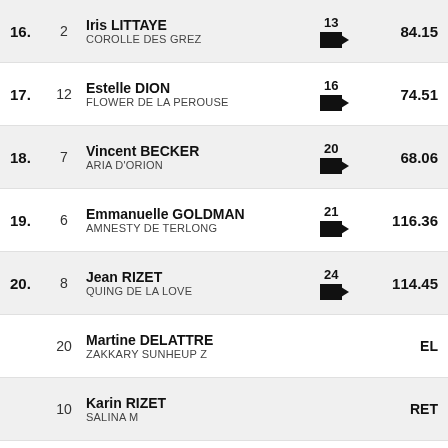| Rank | No. | Rider / Horse | Video | Score |
| --- | --- | --- | --- | --- |
| 16. | 2 | Iris LITTAYE / COROLLE DES GREZ | 13 | 84.15 |
| 17. | 12 | Estelle DION / FLOWER DE LA PEROUSE | 16 | 74.51 |
| 18. | 7 | Vincent BECKER / ARIA D'ORION | 20 | 68.06 |
| 19. | 6 | Emmanuelle GOLDMAN / AMNESTY DE TERLONG | 21 | 116.36 |
| 20. | 8 | Jean RIZET / QUING DE LA LOVE | 24 | 114.45 |
|  | 20 | Martine DELATTRE / ZAKKARY SUNHEUP Z |  | EL |
|  | 10 | Karin RIZET / SALINA M |  | RET |
|  | 17 | Marie MIHAILEANU / DONIBANE |  | WD |
Results by World Sport Timing